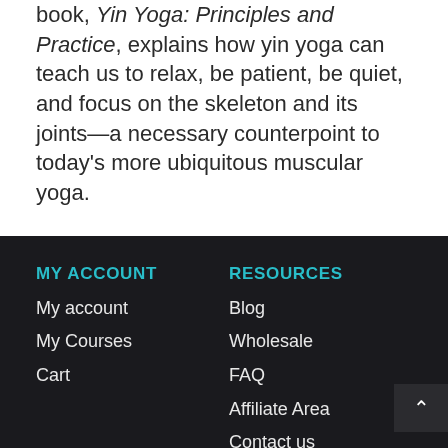book, Yin Yoga: Principles and Practice, explains how yin yoga can teach us to relax, be patient, be quiet, and focus on the skeleton and its joints—a necessary counterpoint to today's more ubiquitous muscular yoga.
MY ACCOUNT
My account
My Courses
Cart
RESOURCES
Blog
Wholesale
FAQ
Affiliate Area
Contact us
ABOUT US
Our Story
Privacy Policy
Returns & Exchanges
COURSES
Browse All Courses